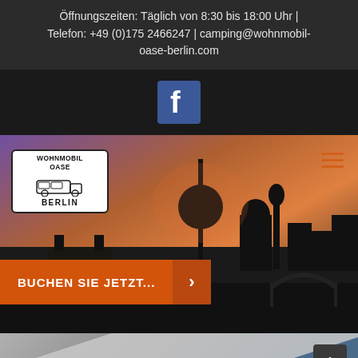Öffnungszeiten: Täglich von 8:30 bis 18:00 Uhr | Telefon: +49 (0)175 2466247 | camping@wohnmobil-oase-berlin.com
[Figure (logo): Facebook social media button (blue square with white f logo)]
[Figure (illustration): Website screenshot showing Wohnmobil Oase Berlin homepage hero section with Berlin skyline silhouette against a purple-orange sunset background, logo badge top left, hamburger menu top right, and orange 'BUCHEN SIE JETZT...' call-to-action button]
[Figure (photo): Partial bottom section showing a diagonal grey/silver element and blue gradient background with a back-to-top arrow button]